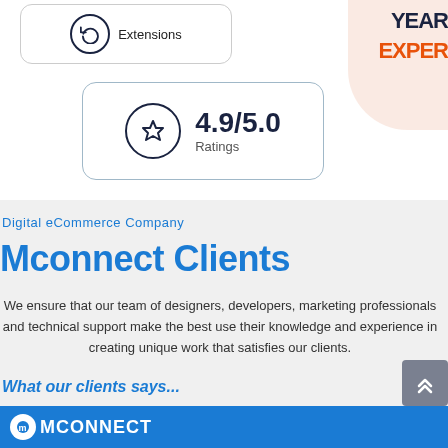[Figure (infographic): Extensions card with circular arrow icon and rounded border]
[Figure (infographic): Rating card showing 4.9/5.0 with a star icon in a circle]
YEAR
EXPER
Digital eCommerce Company
Mconnect Clients
We ensure that our team of designers, developers, marketing professionals and technical support make the best use their knowledge and experience in creating unique work that satisfies our clients.
What our clients says...
[Figure (logo): Mconnect logo in white on blue bar at bottom]